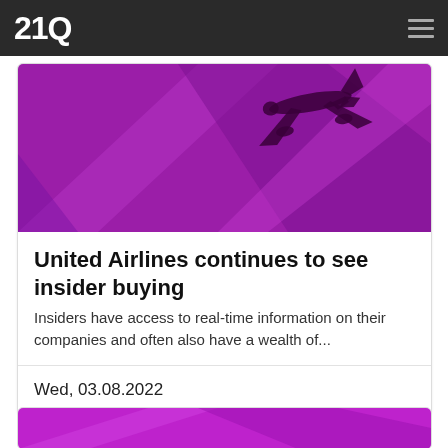21Q
[Figure (photo): Purple/magenta background with geometric diagonal light beams and a commercial airplane silhouette in the upper right, flying overhead against the purple background.]
United Airlines continues to see insider buying
Insiders have access to real-time information on their companies and often also have a wealth of...
Wed, 03.08.2022
[Figure (photo): Purple/magenta background, partial view at bottom of page — appears to be another article hero image.]